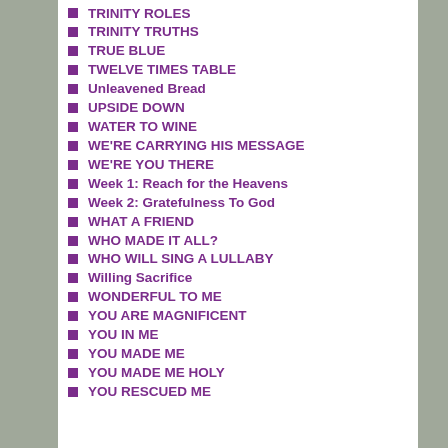TRINITY ROLES
TRINITY TRUTHS
TRUE BLUE
TWELVE TIMES TABLE
Unleavened Bread
UPSIDE DOWN
WATER TO WINE
WE'RE CARRYING HIS MESSAGE
WE'RE YOU THERE
Week 1: Reach for the Heavens
Week 2: Gratefulness To God
WHAT A FRIEND
WHO MADE IT ALL?
WHO WILL SING A LULLABY
Willing Sacrifice
WONDERFUL TO ME
YOU ARE MAGNIFICENT
YOU IN ME
YOU MADE ME
YOU MADE ME HOLY
YOU RESCUED ME